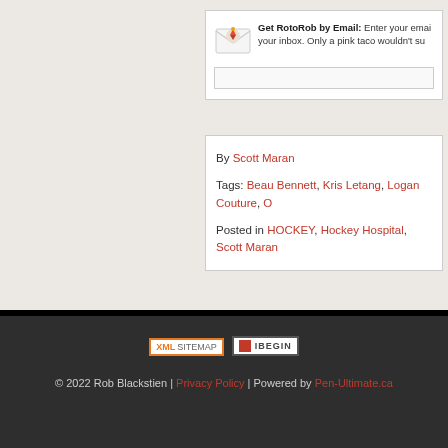Get RotoRob by Email: Enter your email address to have RotoRob delivered to your inbox. Only a pink taco wouldn't sub...
By Scott Maran
Tags: Beau Bennett, Kris Letang, Logan Couture, O...
Posted in HOCKEY, Hockey Hospital, Scott Maran...
[Figure (other): XML Sitemap badge button]
[Figure (other): IBegin badge button]
© 2022 Rob Blackstien | Privacy Policy | Powered by Pen-Ultimate.ca